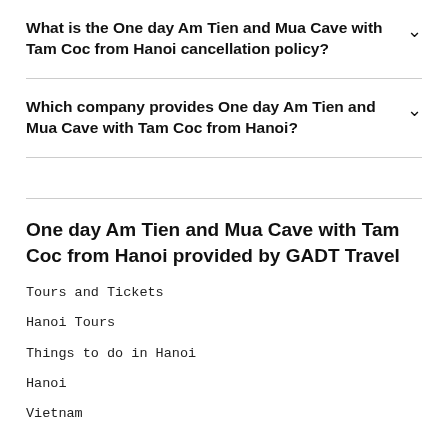What is the One day Am Tien and Mua Cave with Tam Coc from Hanoi cancellation policy?
Which company provides One day Am Tien and Mua Cave with Tam Coc from Hanoi?
One day Am Tien and Mua Cave with Tam Coc from Hanoi provided by GADT Travel
Tours and Tickets
Hanoi Tours
Things to do in Hanoi
Hanoi
Vietnam